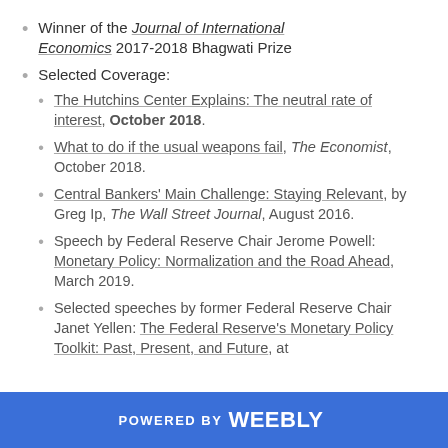Winner of the Journal of International Economics 2017-2018 Bhagwati Prize
Selected Coverage:
The Hutchins Center Explains: The neutral rate of interest, October 2018.
What to do if the usual weapons fail, The Economist, October 2018.
Central Bankers' Main Challenge: Staying Relevant, by Greg Ip, The Wall Street Journal, August 2016.
Speech by Federal Reserve Chair Jerome Powell: Monetary Policy: Normalization and the Road Ahead, March 2019.
Selected speeches by former Federal Reserve Chair Janet Yellen: The Federal Reserve's Monetary Policy Toolkit: Past, Present, and Future, at
POWERED BY weebly